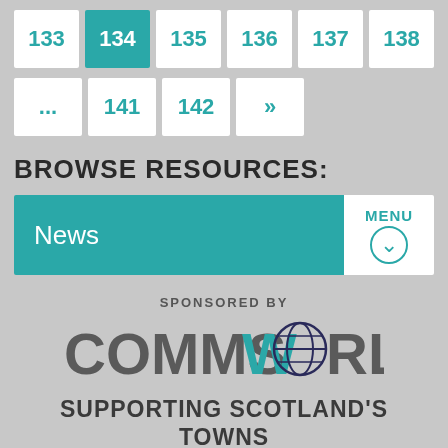Pagination row 1: 133, 134 (active), 135, 136, 137, 138
Pagination row 2: ..., 141, 142, >>
BROWSE RESOURCES:
News | MENU
SPONSORED BY
[Figure (logo): CommsWorld logo with globe graphic]
SUPPORTING SCOTLAND'S TOWNS